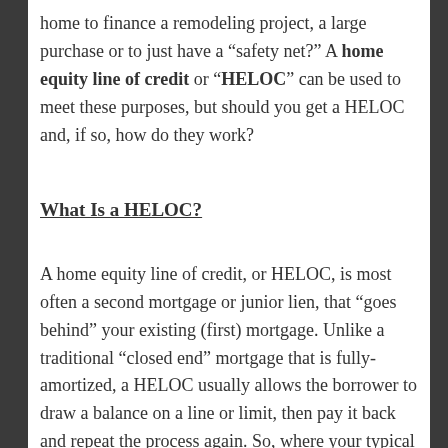home to finance a remodeling project, a large purchase or to just have a "safety net?" A home equity line of credit or "HELOC" can be used to meet these purposes, but should you get a HELOC and, if so, how do they work?
What Is a HELOC?
A home equity line of credit, or HELOC, is most often a second mortgage or junior lien, that “goes behind” your existing (first) mortgage. Unlike a traditional “closed end” mortgage that is fully-amortized, a HELOC usually allows the borrower to draw a balance on a line or limit, then pay it back and repeat the process again. So, where your typical mortgage may start at $400K, for example,